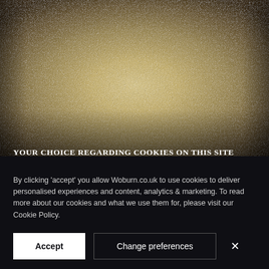[Figure (photo): Textured beige/gold background with gradient from light tan at top to dark brown at bottom, occupying the upper portion of the page.]
YOUR CHOICE REGARDING COOKIES ON THIS SITE
By clicking 'accept' you allow Woburn.co.uk to use cookies to deliver personalised experiences and content, analytics & marketing. To read more about our cookies and what we use them for, please visit our Cookie Policy.
Accept | Change preferences | ×